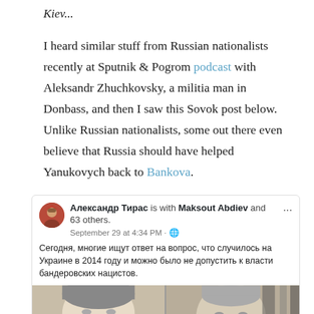Kiev...
I heard similar stuff from Russian nationalists recently at Sputnik & Pogrom podcast with Aleksandr Zhuchkovsky, a militia man in Donbass, and then I saw this Sovok post below. Unlike Russian nationalists, some out there even believe that Russia should have helped Yanukovych back to Bankova.
[Figure (screenshot): Facebook post screenshot by Александр Тирас, posted September 29 at 4:34 PM, with Maksout Abdiev and 63 others. Text in Russian: Сегодня, многие ищут ответ на вопрос, что случилось на Украине в 2014 году и можно было не допустить к власти бандеровских нацистов. Below is a black and white photo showing two men's faces side by side (Yanukovych and Putin).]